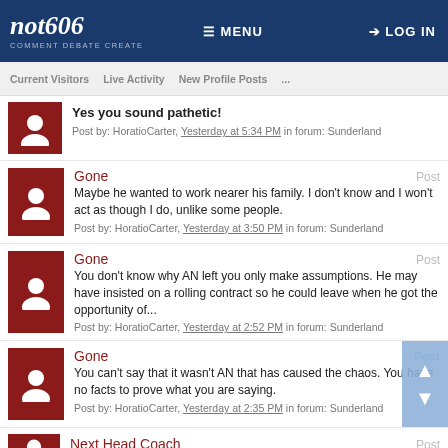not606 COMMENT DEBATE CREATE | MENU | LOG IN
Current Visitors  Live Activity  New Profile Posts  ...
Yes you sound pathetic!
Post by: HoratioCarter, Yesterday at 5:34 PM in forum: Sunderland
Gone
Maybe he wanted to work nearer his family. I don't know and I won't act as though I do, unlike some people.
Post by: HoratioCarter, Yesterday at 3:50 PM in forum: Sunderland
Gone
You don't know why AN left you only make assumptions. He may have insisted on a rolling contract so he could leave when he got the opportunity of...
Post by: HoratioCarter, Yesterday at 2:52 PM in forum: Sunderland
Gone
You can't say that it wasn't AN that has caused the chaos. You have no facts to prove what you are saying.
Post by: HoratioCarter, Yesterday at 2:35 PM in forum: Sunderland
Next Head Coach